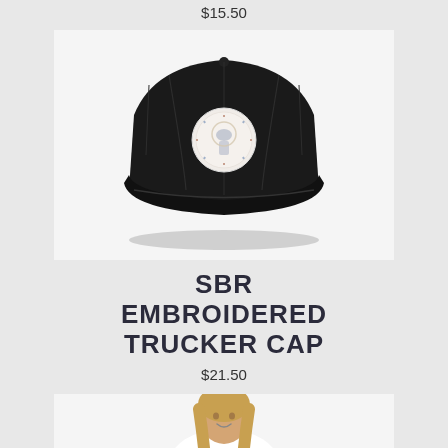$15.50
[Figure (photo): Black embroidered trucker cap with circular decorative patch on the front, shown from the front against a white background]
SBR EMBROIDERED TRUCKER CAP
$21.50
[Figure (photo): Partial view of a woman with blonde hair wearing a white top, cropped at the top of the image]